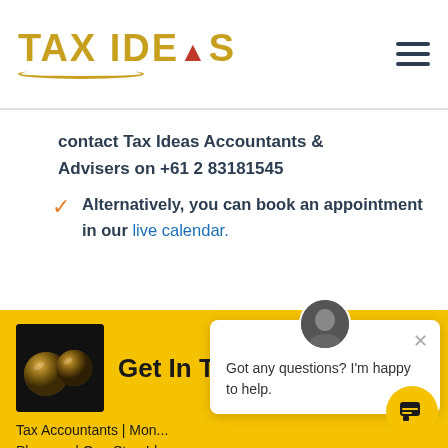[Figure (logo): Tax Ideas logo with gold text and underline arc]
contact Tax Ideas Accountants & Advisers on +61 2 83181545
Alternatively, you can book an appointment in our live calendar.
Get In Touch
[Figure (photo): Dark image of golden metallic balls]
Tax Accountants | Money Planners | One Stop Ideas
Book FREE 15 mins phone consultation
Got any questions? I'm happy to help.